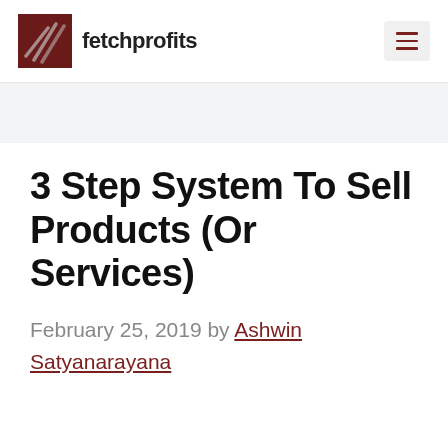fetchprofits
3 Step System To Sell Products (Or Services)
February 25, 2019 by Ashwin Satyanarayana